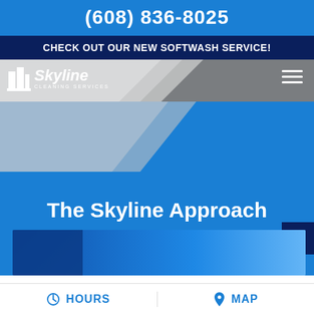(608) 836-8025
CHECK OUT OUR NEW SOFTWASH SERVICE!
[Figure (logo): Skyline Cleaning Services logo with building icon, white text on gray/silver nav bar with hamburger menu]
The Skyline Approach
[Figure (photo): Partially visible blurred image at bottom of hero section]
HOURS   MAP